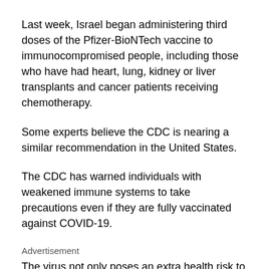Last week, Israel began administering third doses of the Pfizer-BioNTech vaccine to immunocompromised people, including those who have had heart, lung, kidney or liver transplants and cancer patients receiving chemotherapy.
Some experts believe the CDC is nearing a similar recommendation in the United States.
The CDC has warned individuals with weakened immune systems to take precautions even if they are fully vaccinated against COVID-19.
Advertisement
The virus not only poses an extra health risk to the immunocompromised, but because it takes longer for these individuals to clear the virus, scientists believe infections could result in new variants as the virus continues to replicate unchecked, which some studies have shown.